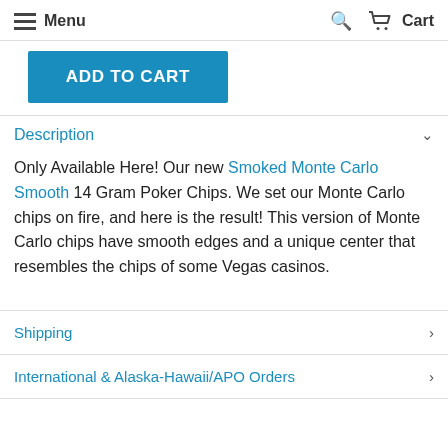Menu  Search  Cart
ADD TO CART
Description
Only Available Here! Our new Smoked Monte Carlo Smooth 14 Gram Poker Chips. We set our Monte Carlo chips on fire, and here is the result! This version of Monte Carlo chips have smooth edges and a unique center that resembles the chips of some Vegas casinos.
Shipping
International & Alaska-Hawaii/APO Orders